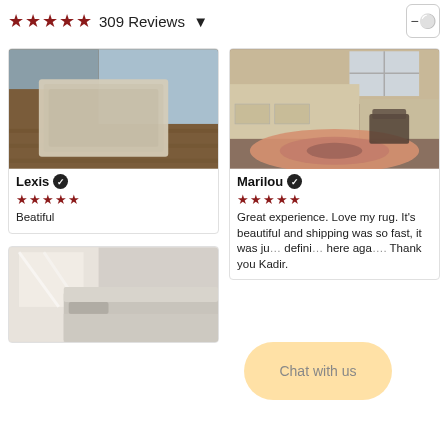★★★★★ 309 Reviews
[Figure (photo): Photo of a light beige/cream rug laid on a dark hardwood floor next to a blue wall]
Lexis ✓
★★★★★
Beatiful
[Figure (photo): Photo of a pink/salmon Persian rug in a home office with wooden furniture and a desk]
Marilou ✓
★★★★★
Great experience. Love my rug. It's beautiful and shipping was so fast, it was ju… defini… here aga…. Thank you Kadir.
[Figure (photo): Photo of a bedroom with white bedding and a rug partially visible]
Chat with us